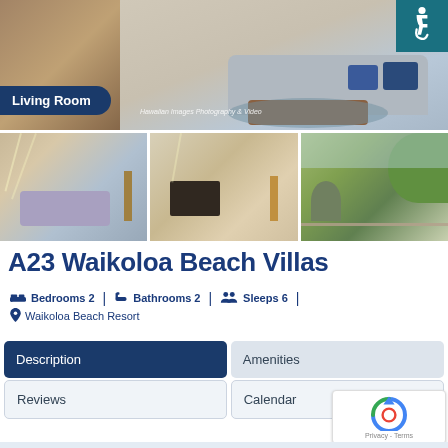[Figure (photo): Living room of A23 Waikoloa Beach Villas showing sofa with blue pillows, wooden coffee table, and blue rug]
Living Room
[Figure (photo): Three thumbnail photos of the vacation rental: living room view, TV room view, and balcony/outdoor view]
A23 Waikoloa Beach Villas
Bedrooms 2 | Bathrooms 2 | Sleeps 6 |
Waikoloa Beach Resort
Description
Amenities
Reviews
Calendar